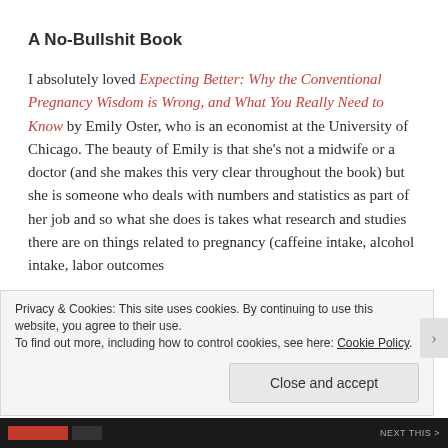A No-Bullshit Book
I absolutely loved Expecting Better: Why the Conventional Pregnancy Wisdom is Wrong, and What You Really Need to Know by Emily Oster, who is an economist at the University of Chicago. The beauty of Emily is that she's not a midwife or a doctor (and she makes this very clear throughout the book) but she is someone who deals with numbers and statistics as part of her job and so what she does is takes what research and studies there are on things related to pregnancy (caffeine intake, alcohol intake, labor outcomes
Privacy & Cookies: This site uses cookies. By continuing to use this website, you agree to their use.
To find out more, including how to control cookies, see here: Cookie Policy
Close and accept